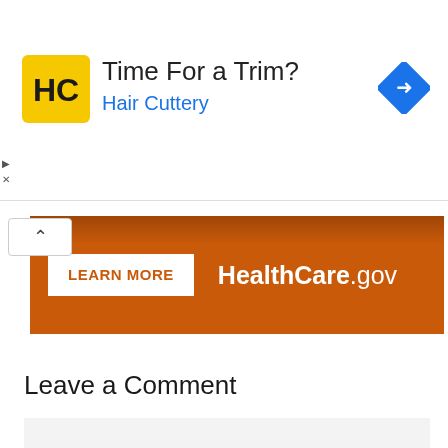[Figure (screenshot): Hair Cuttery advertisement banner with logo, 'Time For a Trim?' text and blue subtitle 'Hair Cuttery', with a blue navigation diamond icon on the right]
[Figure (screenshot): HealthCare.gov orange advertisement banner with 'LEARN MORE' white button and 'HealthCare.gov' text in white, with a chevron-up button overlay]
Leave a Comment
[Figure (other): Empty comment text input area with light gray background]